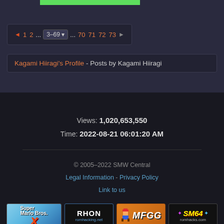Pages: ◄ 1 2 ... 3–69 ▼ ... 70 71 72 73 ►
Kagami Hiiragi's Profile - Posts by Kagami Hiiragi
Views: 1,020,653,550
Time: 2022-08-21 06:01:20 AM
© 2005–2022 SMW Central
Legal Information - Privacy Policy
Link to us
[Figure (screenshot): Partner website logos: Super Mario Bros X, RHON romhacking.net, MFGG, SM64 romhacks.com]